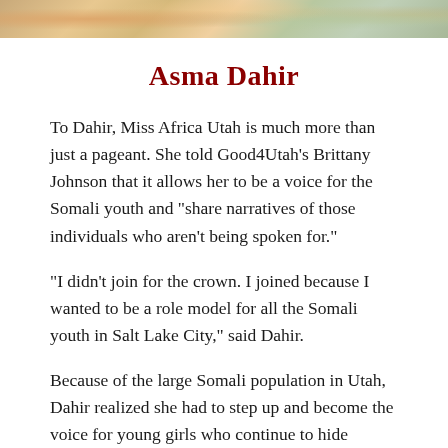[Figure (photo): Cropped top portion of a photo showing a person, partially visible, with colorful background elements.]
Asma Dahir
To Dahir, Miss Africa Utah is much more than just a pageant. She told Good4Utah’s Brittany Johnson that it allows her to be a voice for the Somali youth and “share narratives of those individuals who aren’t being spoken for.”
“I didn’t join for the crown. I joined because I wanted to be a role model for all the Somali youth in Salt Lake City,” said Dahir.
Because of the large Somali population in Utah, Dahir realized she had to step up and become the voice for young girls who continue to hide behind their identity — not able to see their beauty.